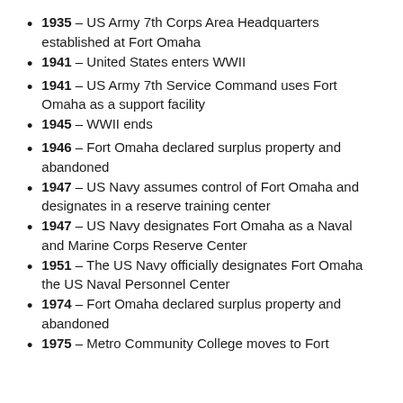1935 – US Army 7th Corps Area Headquarters established at Fort Omaha
1941 – United States enters WWII
1941 – US Army 7th Service Command uses Fort Omaha as a support facility
1945 – WWII ends
1946 – Fort Omaha declared surplus property and abandoned
1947 – US Navy assumes control of Fort Omaha and designates in a reserve training center
1947 – US Navy designates Fort Omaha as a Naval and Marine Corps Reserve Center
1951 – The US Navy officially designates Fort Omaha the US Naval Personnel Center
1974 – Fort Omaha declared surplus property and abandoned
1975 – Metro Community College moves to Fort Omaha